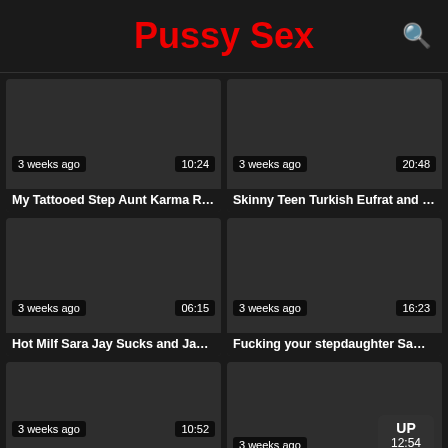Pussy Sex
[Figure (screenshot): Video thumbnail 1, dark, 3 weeks ago, 10:24]
My Tattooed Step Aunt Karma RX I...
[Figure (screenshot): Video thumbnail 2, dark, 3 weeks ago, 20:48]
Skinny Teen Turkish Eufrat and Ha...
[Figure (screenshot): Video thumbnail 3, dark, 3 weeks ago, 06:15]
Hot Milf Sara Jay Sucks and Jacks...
[Figure (screenshot): Video thumbnail 4, dark, 3 weeks ago, 16:23]
Fucking your stepdaughter Saman...
[Figure (screenshot): Video thumbnail 5, dark, 3 weeks ago, 10:52]
[Figure (screenshot): Video thumbnail 6, dark, 3 weeks ago, 12:54]